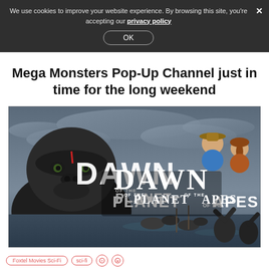We use cookies to improve your website experience. By browsing this site, you're accepting our privacy policy
Mega Monsters Pop-Up Channel just in time for the long weekend
[Figure (photo): Movie poster for Dawn of the Planet of the Apes showing a large ape in the foreground with a red mark on its face, two humans in the upper right, and apes on rafts in water in the background. The movie title DAWN OF THE PLANET OF THE APES is displayed prominently.]